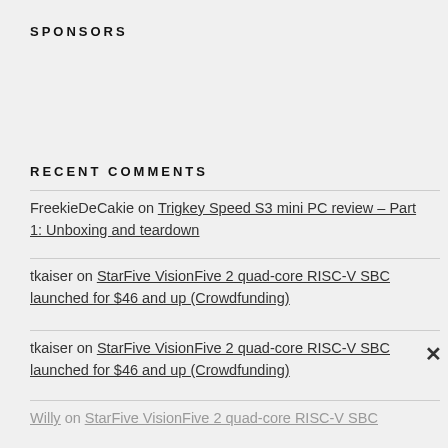SPONSORS
RECENT COMMENTS
FreekieDeCakie on Trigkey Speed S3 mini PC review – Part 1: Unboxing and teardown
tkaiser on StarFive VisionFive 2 quad-core RISC-V SBC launched for $46 and up (Crowdfunding)
tkaiser on StarFive VisionFive 2 quad-core RISC-V SBC launched for $46 and up (Crowdfunding)
Willy on StarFive VisionFive 2 quad-core RISC-V SBC